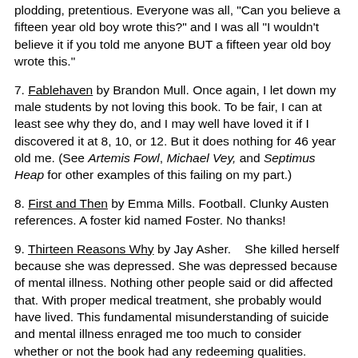plodding, pretentious.  Everyone was all, "Can you believe a fifteen year old boy wrote this?" and I was all "I wouldn't believe it if you told me anyone BUT a fifteen year old boy wrote this."
7. Fablehaven by Brandon Mull.  Once again, I let down my male students by not loving this book.  To be fair, I can at least see why they do, and I may well have loved it if I discovered it at 8, 10, or 12.  But it does nothing for 46 year old me.  (See Artemis Fowl, Michael Vey, and Septimus Heap for other examples of this failing on my part.)
8. First and Then by Emma Mills.  Football.  Clunky Austen references.  A foster kid named Foster.  No thanks!
9.  Thirteen Reasons Why by Jay Asher.    She killed herself because she was depressed.  She was depressed because of mental illness.  Nothing other people said or did affected that.  With proper medical treatment, she probably would have lived.  This fundamental misunderstanding of suicide and mental illness enraged me too much to consider whether or not the book had any redeeming qualities.